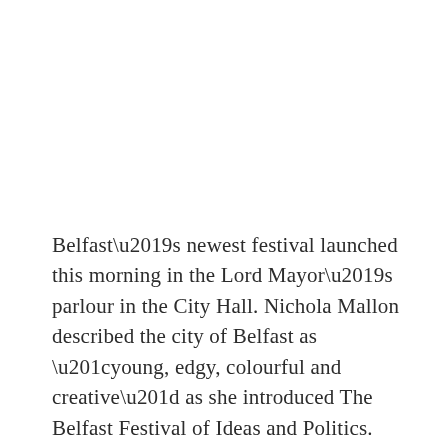Belfast’s newest festival launched this morning in the Lord Mayor’s parlour in the City Hall. Nichola Mallon described the city of Belfast as “young, edgy, colourful and creative” as she introduced The Belfast Festival of Ideas and Politics. Organiser Peter O’Neill [Ed – no, not that P O’Neill!] explains that the festival’s mission is “to stimulate people’s minds and passions [with] an annual programme of